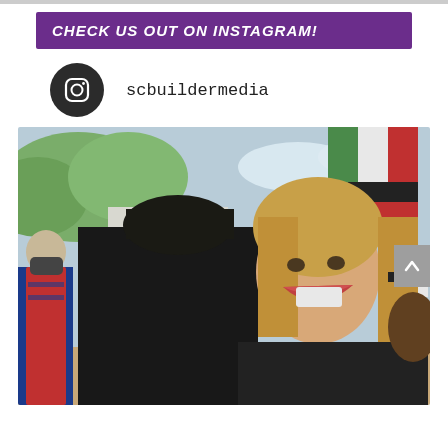CHECK US OUT ON INSTAGRAM!
scbuildermedia
[Figure (photo): Two people in graduation robes smiling and laughing at an outdoor graduation ceremony. Flags including German flag visible in background. A masked person in red academic regalia visible on the left.]